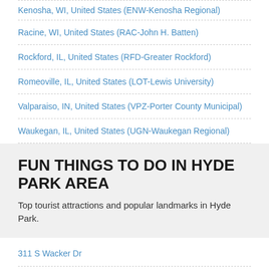Kenosha, WI, United States (ENW-Kenosha Regional)
Racine, WI, United States (RAC-John H. Batten)
Rockford, IL, United States (RFD-Greater Rockford)
Romeoville, IL, United States (LOT-Lewis University)
Valparaiso, IN, United States (VPZ-Porter County Municipal)
Waukegan, IL, United States (UGN-Waukegan Regional)
FUN THINGS TO DO IN HYDE PARK AREA
Top tourist attractions and popular landmarks in Hyde Park.
311 S Wacker Dr
900 North Michigan Shops
About Face Theater